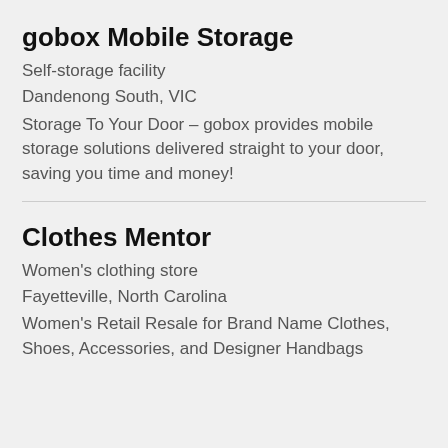gobox Mobile Storage
Self-storage facility
Dandenong South, VIC
Storage To Your Door – gobox provides mobile storage solutions delivered straight to your door, saving you time and money!
Clothes Mentor
Women's clothing store
Fayetteville, North Carolina
Women's Retail Resale for Brand Name Clothes, Shoes, Accessories, and Designer Handbags